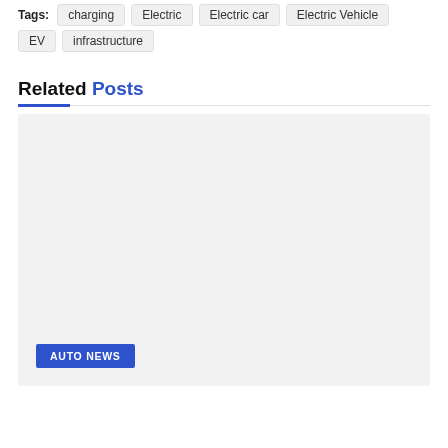Tags: charging  Electric  Electric car  Electric Vehicle  EV  infrastructure
Related Posts
[Figure (photo): A large light-gray placeholder image card for a related post, with an 'AUTO NEWS' category badge in blue at the bottom left.]